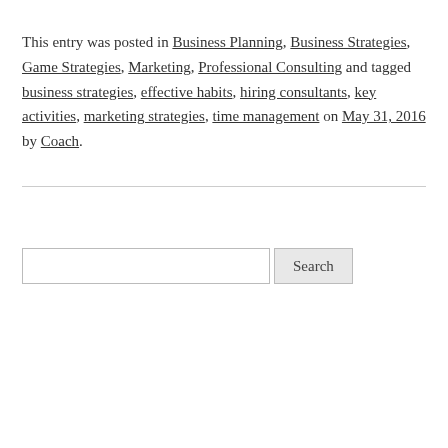This entry was posted in Business Planning, Business Strategies, Game Strategies, Marketing, Professional Consulting and tagged business strategies, effective habits, hiring consultants, key activities, marketing strategies, time management on May 31, 2016 by Coach.